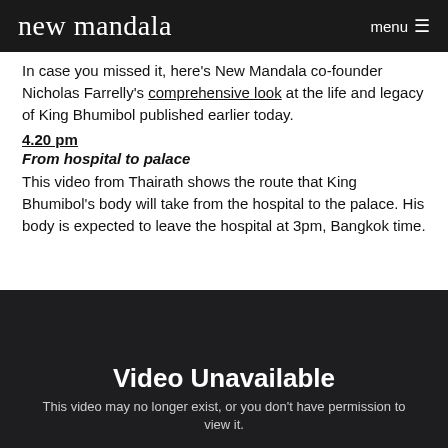new mandala   menu ☰
In case you missed it, here's New Mandala co-founder Nicholas Farrelly's comprehensive look at the life and legacy of King Bhumibol published earlier today.
4.20 pm
From hospital to palace
This video from Thairath shows the route that King Bhumibol's body will take from the hospital to the palace. His body is expected to leave the hospital at 3pm, Bangkok time.
[Figure (screenshot): Embedded video player showing 'Video Unavailable' message on dark background. Text reads: 'Video Unavailable' and 'This video may no longer exist, or you don't have permission to view it.']